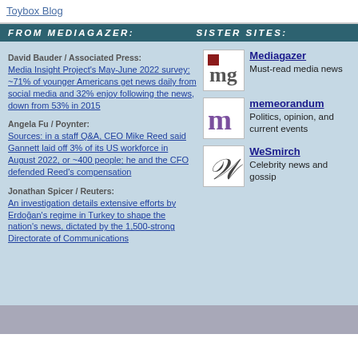Toybox Blog
FROM MEDIAGAZER:   SISTER SITES:
David Bauder / Associated Press: Media Insight Project's May-June 2022 survey: ~71% of younger Americans get news daily from social media and 32% enjoy following the news, down from 53% in 2015
Angela Fu / Poynter: Sources: in a staff Q&A, CEO Mike Reed said Gannett laid off 3% of its US workforce in August 2022, or ~400 people; he and the CFO defended Reed's compensation
Jonathan Spicer / Reuters: An investigation details extensive efforts by Erdoğan's regime in Turkey to shape the nation's news, dictated by the 1,500-strong Directorate of Communications
[Figure (logo): Mediagazer logo - mg with red square]
Mediagazer Must-read media news
[Figure (logo): memeorandum logo - stylized m in purple]
memeorandum Politics, opinion, and current events
[Figure (logo): WeSmirch logo - stylized W in script]
WeSmirch Celebrity news and gossip